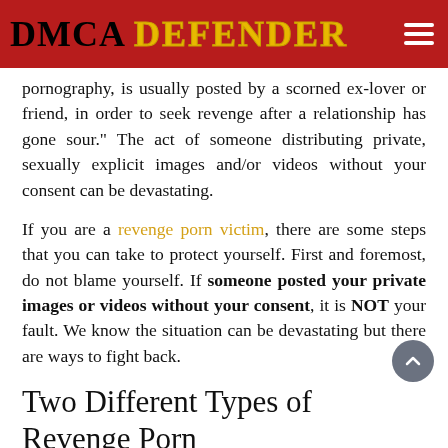DMCA DEFENDER
pornography, is usually posted by a scorned ex-lover or friend, in order to seek revenge after a relationship has gone sour.” The act of someone distributing private, sexually explicit images and/or videos without your consent can be devastating.
If you are a revenge porn victim, there are some steps that you can take to protect yourself. First and foremost, do not blame yourself. If someone posted your private images or videos without your consent, it is NOT your fault. We know the situation can be devastating but there are ways to fight back.
Two Different Types of Revenge Porn